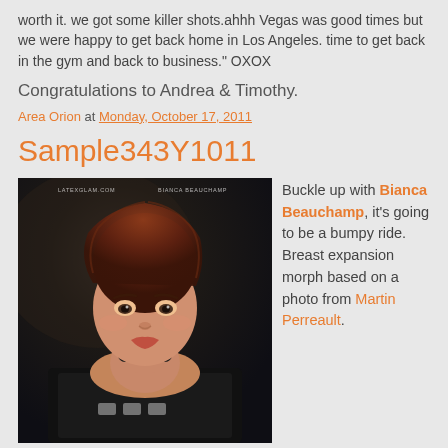worth it. we got some killer shots.ahhh Vegas was good times but we were happy to get back home in Los Angeles. time to get back in the gym and back to business." OXOX
Congratulations to Andrea & Timothy.
Area Orion at Monday, October 17, 2011
Sample343Y1011
[Figure (photo): Photo of Bianca Beauchamp with watermark text 'LATEXGLAM.COM BIANCA BEAUCHAMP']
Buckle up with Bianca Beauchamp, it's going to be a bumpy ride. Breast expansion morph based on a photo from Martin Perreault.